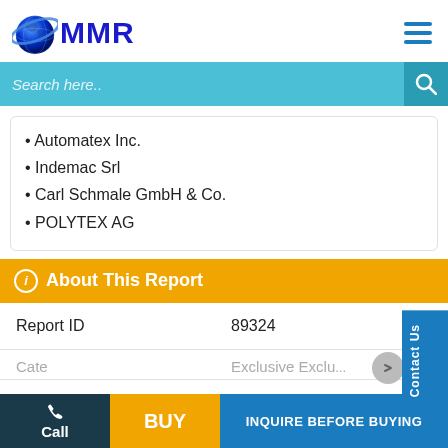[Figure (logo): MMR globe logo with blue globe icon and MMR text in dark blue]
Automatex Inc.
Indemac Srl
Carl Schmale GmbH & Co.
POLYTEX AG
About This Report
| Report ID | 89324 |
| --- | --- |
| Category | Exclusive Exclusive... |